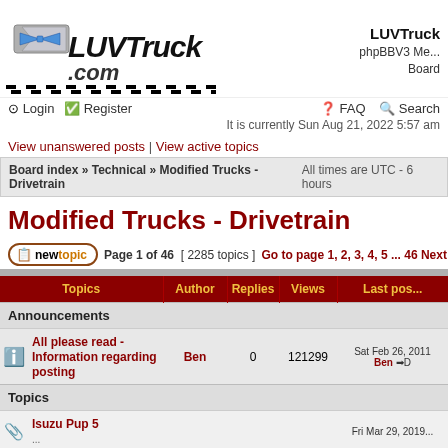[Figure (logo): LUVTruck.com logo with Chevrolet bowtie emblem and checkered border]
LUVTruck phpBBV3 Message Board
Login  Register  FAQ  Search
It is currently Sun Aug 21, 2022 5:57 am
View unanswered posts | View active topics
Board index » Technical » Modified Trucks - Drivetrain   All times are UTC - 6 hours
Modified Trucks - Drivetrain
newtopic  Page 1 of 46  [ 2285 topics ]  Go to page 1, 2, 3, 4, 5 ... 46  Next
| Topics | Author | Replies | Views | Last post |
| --- | --- | --- | --- | --- |
| Announcements |  |  |  |  |
| All please read - Information regarding posting | Ben | 0 | 121299 | Sat Feb 26, 2011 Ben |
| Topics |  |  |  |  |
| Isuzu Pup 5 ... |  |  |  | Fri Mar 29, 2019 |